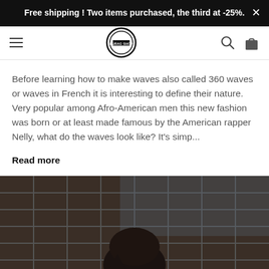Free shipping ! Two items purchased, the third at -25%.
[Figure (logo): Durag Shop circular logo with text inside a ring]
Before learning how to make waves also called 360 waves or waves in French it is interesting to define their nature. Very popular among Afro-American men this new fashion was born or at least made famous by the American rapper Nelly, what do the waves look like? It's simp...
Read more
[Figure (photo): A person wearing a dark durag, photographed against a dark metal grid/fence background]